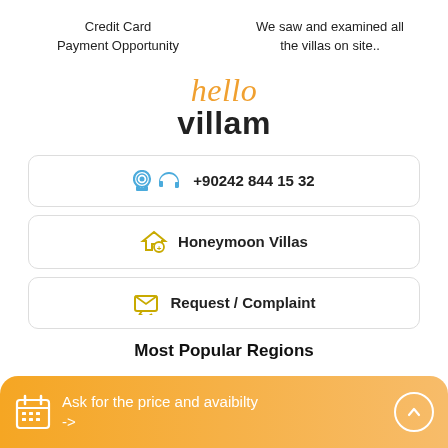Credit Card Payment Opportunity
We saw and examined all the villas on site..
[Figure (logo): hello villam logo — 'hello' in orange italic serif font, 'villam' in dark bold sans-serif below]
+90242 844 15 32
Honeymoon Villas
Request / Complaint
Most Popular Regions
Ask for the price and avaibilty ->